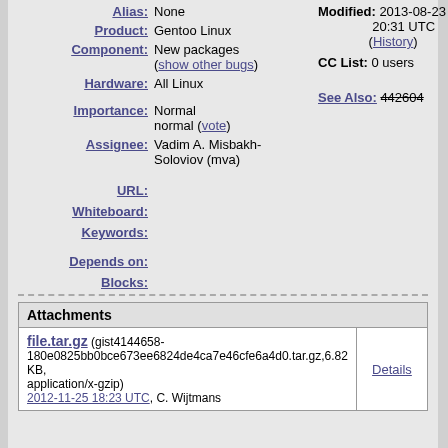Alias: None
Modified: 2013-08-23 20:31 UTC (History)
Product: Gentoo Linux
CC List: 0 users
Component: New packages (show other bugs)
Hardware: All Linux
See Also: 442604
Importance: Normal normal (vote)
Assignee: Vadim A. Misbakh-Soloviov (mva)
URL:
Whiteboard:
Keywords:
Depends on:
Blocks:
| Attachments |  |
| --- | --- |
| file.tar.gz (gist4144658-180e0825bb0bce673ee6824de4ca7e46cfe6a4d0.tar.gz,6.82 KB, application/x-gzip)
2012-11-25 18:23 UTC, C. Wijtmans | Details |